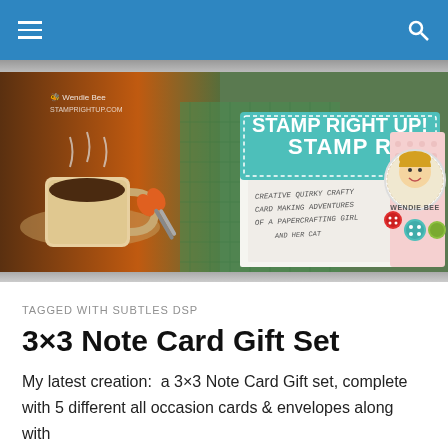Navigation bar with hamburger menu and search icon
[Figure (illustration): Stamp Right Up blog banner showing a coffee cup, scissors, cutting mat, and a teal banner reading 'STAMP RIGHT UP!' with subtitle text 'CREATIVE QUIRKY CRAFTY CARD MAKING ADVENTURES OF A PAPERCRAFTING GIRL AND HER CAT', and a cartoon girl character named WENDIE BEE with buttons]
TAGGED WITH SUBTLES DSP
3×3 Note Card Gift Set
My latest creation:  a 3×3 Note Card Gift set, complete with 5 different all occasion cards & envelopes along with